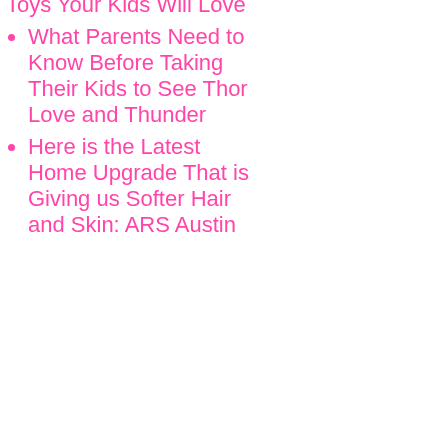Toys Your Kids Will Love
What Parents Need to Know Before Taking Their Kids to See Thor Love and Thunder
Here is the Latest Home Upgrade That is Giving us Softer Hair and Skin: ARS Austin